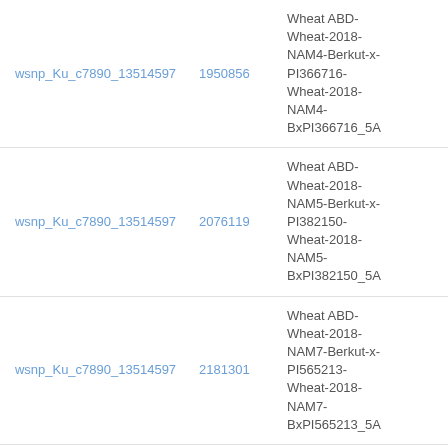| wsnp_Ku_c7890_13514597 | 1950856 | Wheat ABD-Wheat-2018-NAM4-Berkut-x-PI366716-Wheat-2018-NAM4-BxPI366716_5A | Genetic |
| wsnp_Ku_c7890_13514597 | 2076119 | Wheat ABD-Wheat-2018-NAM5-Berkut-x-PI382150-Wheat-2018-NAM5-BxPI382150_5A | Genetic |
| wsnp_Ku_c7890_13514597 | 2181301 | Wheat ABD-Wheat-2018-NAM7-Berkut-x-PI565213-Wheat-2018-NAM7-BxPI565213_5A | Genetic |
| wsnp_Ku_c7890_13514597 | 2274536 | Wheat ABD-Wheat-2018-NAM9-Berkut-x-Vida-Wheat-2018-NAM9-BxVida_5A | Genetic |